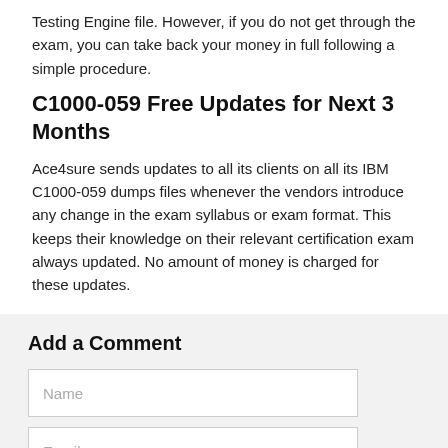Testing Engine file. However, if you do not get through the exam, you can take back your money in full following a simple procedure.
C1000-059 Free Updates for Next 3 Months
Ace4sure sends updates to all its clients on all its IBM C1000-059 dumps files whenever the vendors introduce any change in the exam syllabus or exam format. This keeps their knowledge on their relevant certification exam always updated. No amount of money is charged for these updates.
Add a Comment
Name
Email
Add a Comment